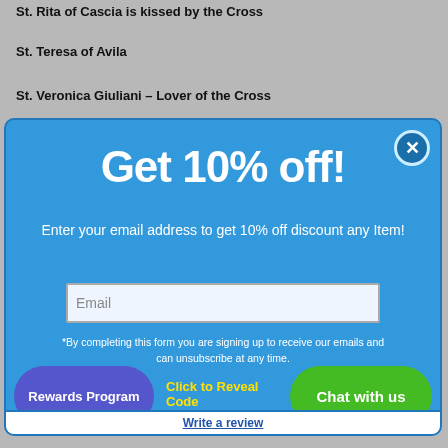St. Rita of Cascia is kissed by the Cross
St. Teresa of Avila
St. Veronica Giuliani - Lover of the Cross
[Figure (screenshot): A promotional popup modal with blue background showing 'Get 10% off!' offer, email input field, disclaimer text, and bottom action buttons: Rewards Program, Click to Reveal Code, Chat with us]
Write a review